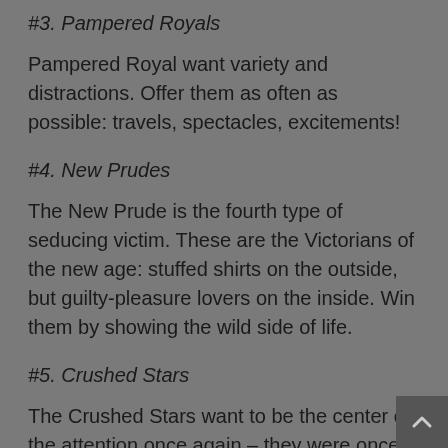#3. Pampered Royals
Pampered Royal want variety and distractions. Offer them as often as possible: travels, spectacles, excitements!
#4. New Prudes
The New Prude is the fourth type of seducing victim. These are the Victorians of the new age: stuffed shirts on the outside, but guilty-pleasure lovers on the inside. Win them by showing the wild side of life.
#5. Crushed Stars
The Crushed Stars want to be the center of the attention once again – they were once, but are